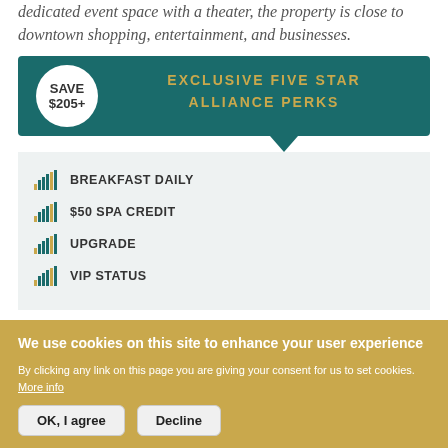dedicated event space with a theater, the property is close to downtown shopping, entertainment, and businesses.
[Figure (infographic): Teal banner with 'SAVE $205+' circle and 'EXCLUSIVE FIVE STAR ALLIANCE PERKS' text in gold]
BREAKFAST DAILY
$50 SPA CREDIT
UPGRADE
VIP STATUS
We use cookies on this site to enhance your user experience
By clicking any link on this page you are giving your consent for us to set cookies. More info
OK, I agree | Decline